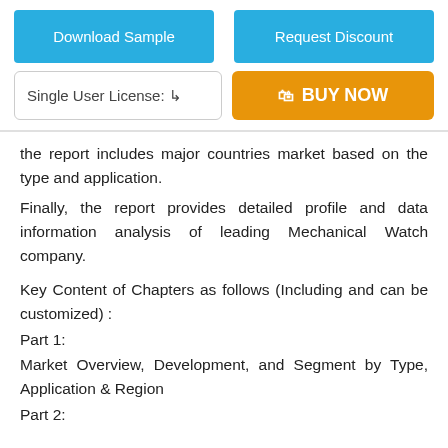[Figure (other): Two blue buttons labeled 'Download Sample' and 'Request Discount']
[Figure (other): License selector box with 'Single User License' and orange 'BUY NOW' button]
the report includes major countries market based on the type and application.
Finally, the report provides detailed profile and data information analysis of leading Mechanical Watch company.
Key Content of Chapters as follows (Including and can be customized) :
Part 1:
Market Overview, Development, and Segment by Type, Application & Region
Part 2: